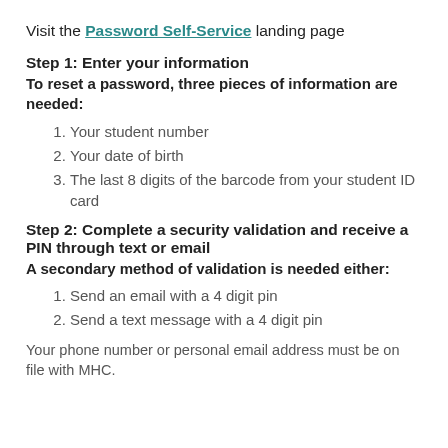Visit the Password Self-Service landing page
Step 1: Enter your information
To reset a password, three pieces of information are needed:
Your student number
Your date of birth
The last 8 digits of the barcode from your student ID card
Step 2: Complete a security validation and receive a PIN through text or email
A secondary method of validation is needed either:
Send an email with a 4 digit pin
Send a text message with a 4 digit pin
Your phone number or personal email address must be on file with MHC.